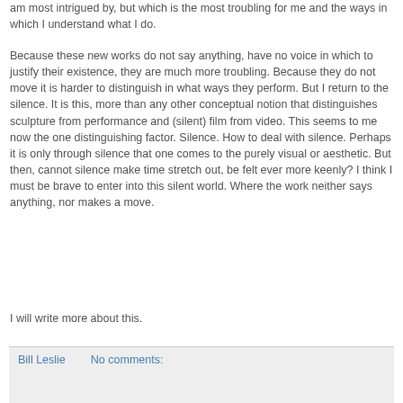am most intrigued by, but which is the most troubling for me and the ways in which I understand what I do.
Because these new works do not say anything, have no voice in which to justify their existence, they are much more troubling. Because they do not move it is harder to distinguish in what ways they perform. But I return to the silence. It is this, more than any other conceptual notion that distinguishes sculpture from performance and (silent) film from video. This seems to me now the one distinguishing factor. Silence. How to deal with silence. Perhaps it is only through silence that one comes to the purely visual or aesthetic. But then, cannot silence make time stretch out, be felt ever more keenly? I think I must be brave to enter into this silent world. Where the work neither says anything, nor makes a move.
I will write more about this.
Bill Leslie   No comments: